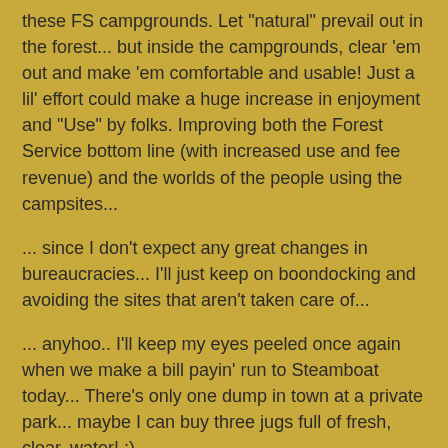these FS campgrounds. Let "natural" prevail out in the forest... but inside the campgrounds, clear 'em out and make 'em comfortable and usable! Just a lil' effort could make a huge increase in enjoyment and "Use" by folks. Improving both the Forest Service bottom line (with increased use and fee revenue) and the worlds of the people using the campsites...
... since I don't expect any great changes in bureaucracies... I'll just keep on boondocking and avoiding the sites that aren't taken care of...
... anyhoo.. I'll keep my eyes peeled once again when we make a bill payin' run to Steamboat today... There's only one dump in town at a private park... maybe I can buy three jugs full of fresh, clear, water! ;)
Un-Flash flooded and "Rambled out" on the Mountain
Brian